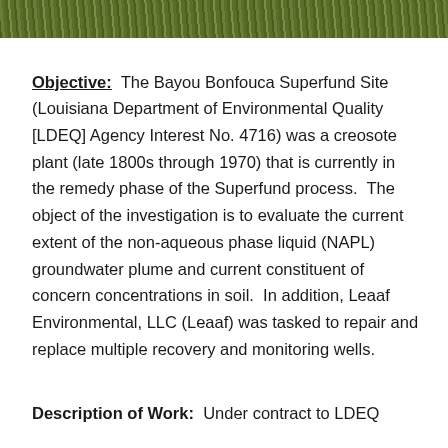[Figure (photo): Photograph strip showing green grass at top of page]
Objective: The Bayou Bonfouca Superfund Site (Louisiana Department of Environmental Quality [LDEQ] Agency Interest No. 4716) was a creosote plant (late 1800s through 1970) that is currently in the remedy phase of the Superfund process. The object of the investigation is to evaluate the current extent of the non-aqueous phase liquid (NAPL) groundwater plume and current constituent of concern concentrations in soil. In addition, Leaaf Environmental, LLC (Leaaf) was tasked to repair and replace multiple recovery and monitoring wells.
Description of Work: Under contract to LDEQ